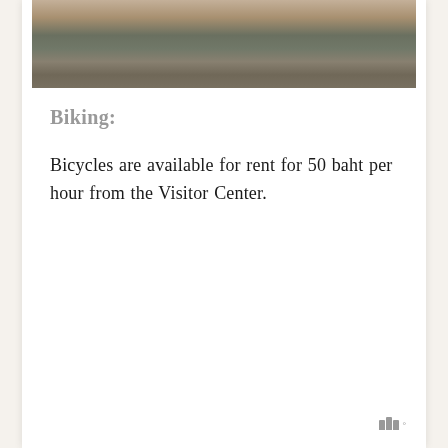[Figure (photo): Partial view of people standing outdoors, likely at a natural or park setting, seen from above/waist down.]
Biking:
Bicycles are available for rent for 50 baht per hour from the Visitor Center.
w°